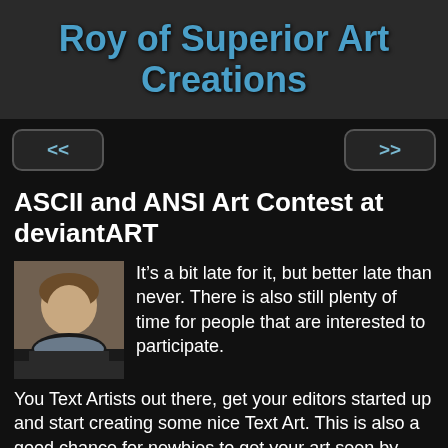Roy of Superior Art Creations
ASCII and ANSI Art Contest at deviantART
[Figure (photo): Headshot photo of a man with short brown hair, wearing a dark jacket, light background]
It’s a bit late for it, but better late than never. There is also still plenty of time for people that are interested to participate.
You Text Artists out there, get your editors started up and start creating some nice Text Art. This is also a good chance for newbies to get your art seen by others and useful feedback.